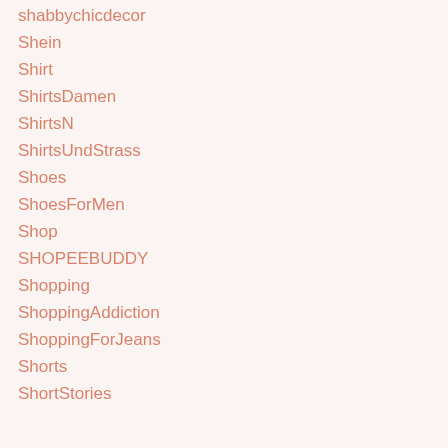shabbychicdecor
Shein
Shirt
ShirtsDamen
ShirtsN
ShirtsUndStrass
Shoes
ShoesForMen
Shop
SHOPEEBUDDY
Shopping
ShoppingAddiction
ShoppingForJeans
Shorts
ShortStories